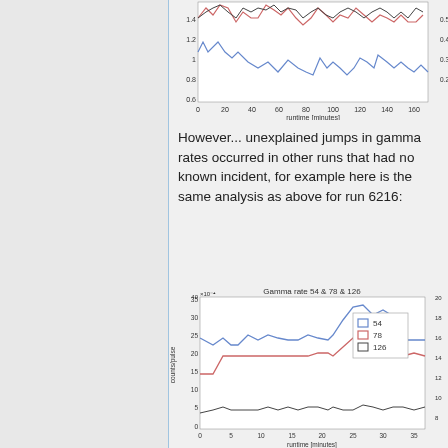[Figure (continuous-plot): Top partial line chart showing gamma rates vs runtime [minutes] for three channels (blue, red/pink, dark), y-axis from ~0.6 to 1.4, x-axis 0 to 160 minutes. Partially cropped.]
However... unexplained jumps in gamma rates occurred in other runs that had no known incident, for example here is the same analysis as above for run 6216:
[Figure (continuous-plot): Line chart titled 'Gamma rate 54 & 78 & 126' showing counts/pulse (x10^-4) vs runtime [minutes] for three channels: 54 (blue, ~25-40), 78 (red/pink, ~15-25), 126 (dark, ~5-8). X-axis 0 to 35+ minutes, partially cropped on right. Legend shows 54, 78, 126.]